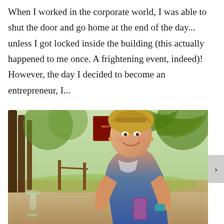When I worked in the corporate world, I was able to shut the door and go home at the end of the day... unless I got locked inside the building (this actually happened to me once. A frightening event, indeed)! However, the day I decided to become an entrepreneur, I...
[Figure (photo): A smiling woman with blonde hair sitting outdoors at a table, holding a smartphone, with palm trees and tropical greenery in the background. A wine glass is visible on the table.]